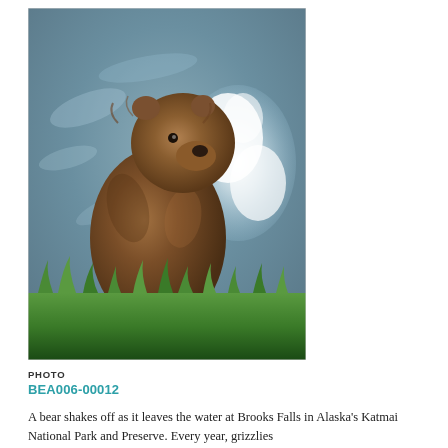[Figure (photo): A brown bear cub standing upright at the edge of Brooks Falls, with churning white water splashing behind it and green grass in the foreground. Katmai National Park, Alaska.]
PHOTO
BEA006-00012
A bear shakes off as it leaves the water at Brooks Falls in Alaska's Katmai National Park and Preserve. Every year, grizzlies